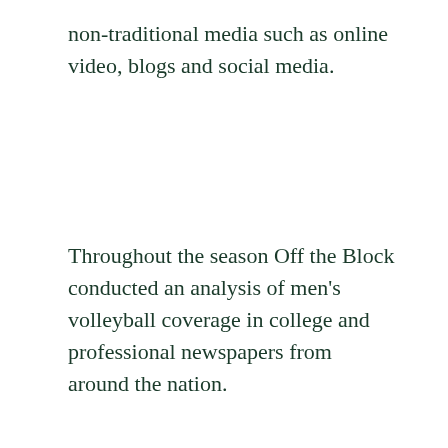non-traditional media such as online video, blogs and social media.
Throughout the season Off the Block conducted an analysis of men's volleyball coverage in college and professional newspapers from around the nation.